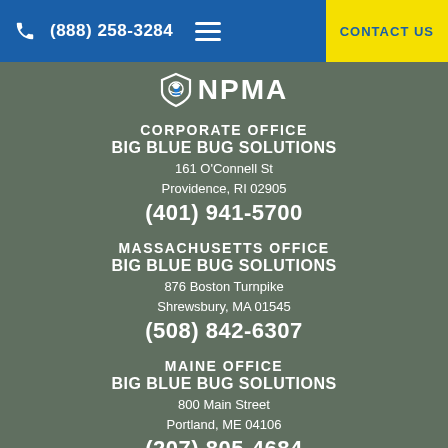(888) 258-3284 CONTACT US
[Figure (logo): NPMA logo with shield icon and text NPMA]
CORPORATE OFFICE
BIG BLUE BUG SOLUTIONS
161 O'Connell St
Providence, RI 02905
(401) 941-5700
MASSACHUSETTS OFFICE
BIG BLUE BUG SOLUTIONS
876 Boston Turnpike
Shrewsbury, MA 01545
(508) 842-6307
MAINE OFFICE
BIG BLUE BUG SOLUTIONS
800 Main Street
Portland, ME 04106
(207) 805-4684